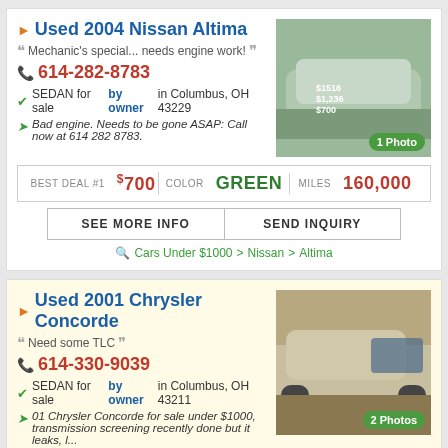Used 2004 Nissan Altima
Mechanic's special... needs engine work!
614-282-8783
SEDAN for sale by owner in Columbus, OH 43229
Bad engine. Needs to be gone ASAP: Call now at 614 282 8783.
[Figure (photo): Green 2004 Nissan Altima sedan parked on grass with price written on windshield]
BEST DEAL #1 $700 | COLOR Green | MILES 160,000
SEE MORE INFO | SEND INQUIRY
Cars Under $1000 > Nissan > Altima
Used 2001 Chrysler Concorde
Need some TLC
614-330-9039
SEDAN for sale by owner in Columbus, OH 43211
01 Chrysler Concorde for sale under $1000, transmission screening recently done but it leaks, l...
[Figure (photo): Gold/tan 2001 Chrysler Concorde sedan parked outside]
$700